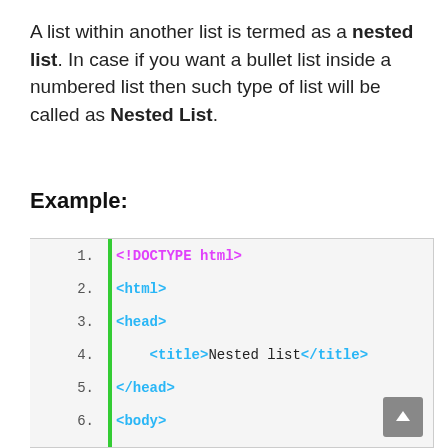A list within another list is termed as a nested list. In case if you want a bullet list inside a numbered list then such type of list will be called as Nested List.
Example:
[Figure (screenshot): Code editor showing HTML code for nested list example, lines 1–11. Line 1: <!DOCTYPE html>, Line 2: <html>, Line 3: <head>, Line 4: <title>Nested list</title>, Line 5: </head>, Line 6: <body>, Line 7: <p>List of Indian States with thier capital</p>, Line 8: <ol>, Line 9: <li>Bihar, Line 10: <ul>, Line 11: <li>Patna</li>. A green vertical bar separates line numbers from code. A scroll-up button is at lower right.]